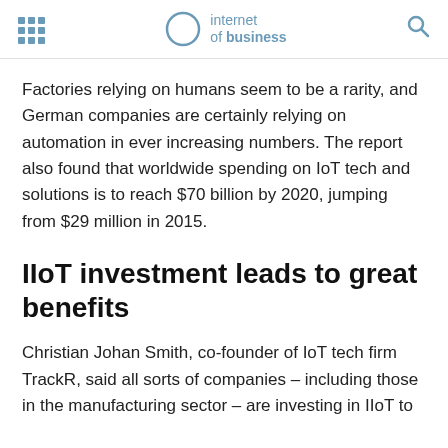internet of business
Factories relying on humans seem to be a rarity, and German companies are certainly relying on automation in ever increasing numbers. The report also found that worldwide spending on IoT tech and solutions is to reach $70 billion by 2020, jumping from $29 million in 2015.
IIoT investment leads to great benefits
Christian Johan Smith, co-founder of IoT tech firm TrackR, said all sorts of companies – including those in the manufacturing sector – are investing in IIoT to